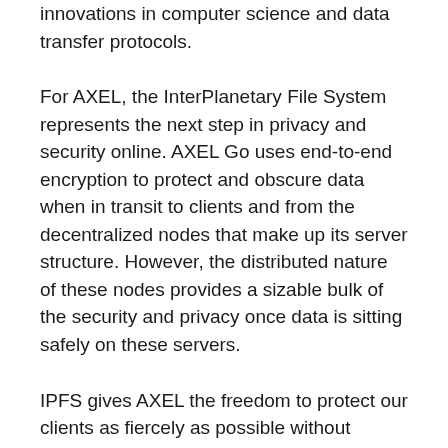innovations in computer science and data transfer protocols.
For AXEL, the InterPlanetary File System represents the next step in privacy and security online. AXEL Go uses end-to-end encryption to protect and obscure data when in transit to clients and from the decentralized nodes that make up its server structure. However, the distributed nature of these nodes provides a sizable bulk of the security and privacy once data is sitting safely on these servers.
IPFS gives AXEL the freedom to protect our clients as fiercely as possible without compromising our customers' privacy and autonomy. The decentralized nature of our server structure means that AXEL has no control